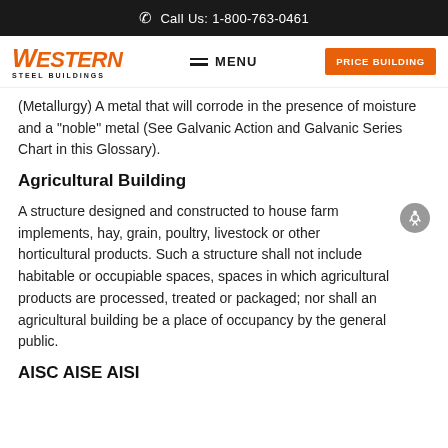Call Us: 1-800-763-0461
[Figure (logo): Western Steel Buildings logo with orange text and navigation bar including MENU and PRICE BUILDING button]
(Metallurgy) A metal that will corrode in the presence of moisture and a "noble" metal (See Galvanic Action and Galvanic Series Chart in this Glossary).
Agricultural Building
A structure designed and constructed to house farm implements, hay, grain, poultry, livestock or other horticultural products. Such a structure shall not include habitable or occupiable spaces, spaces in which agricultural products are processed, treated or packaged; nor shall an agricultural building be a place of occupancy by the general public.
AISC AISE AISI